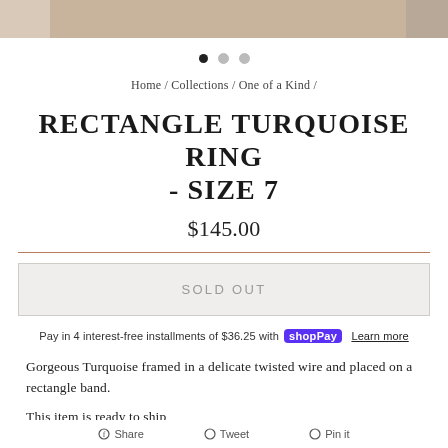[Figure (photo): Top strip showing partial product images of a turquoise ring being worn]
• • •  (navigation dots, first filled)
Home / Collections / One of a Kind /
RECTANGLE TURQUOISE RING - SIZE 7
$145.00
SOLD OUT
Pay in 4 interest-free installments of $36.25 with Shop Pay Learn more
Gorgeous Turquoise framed in a delicate twisted wire and placed on a rectangle band.
This item is ready to ship